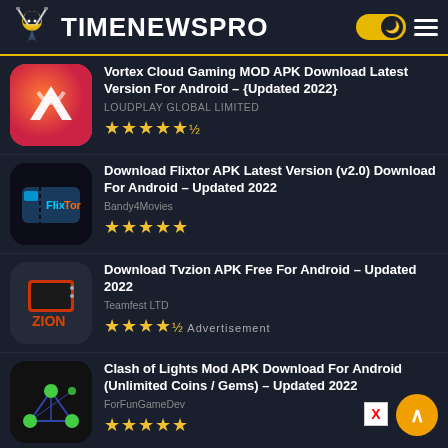TIMENEWSPRO
Vortex Cloud Gaming MOD APK Download Latest Version For Android – {Updated 2022}
LOUDPLAY GLOBAL LIMITED
★★★★★½
Download Flixtor APK Latest Version (v2.0) Download For Android – Updated 2022
Bandy4Movies
★★★★★
Download Tvzion APK Free For Android – Updated 2022
Teamfest LTD
★★★★★ Advertisement
Clash of Lights Mod APK Download For Android (Unlimited Coins / Gems) – Updated 2022
ForFunGameDev
★★★★★